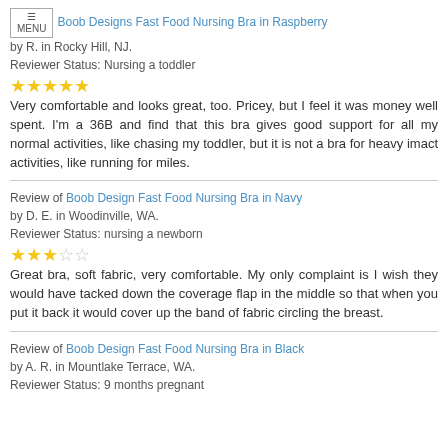Review of Boob Designs Fast Food Nursing Bra in Raspberry by R. in Rocky Hill, NJ. Reviewer Status: Nursing a toddler
★★★★★ Very comfortable and looks great, too. Pricey, but I feel it was money well spent. I'm a 36B and find that this bra gives good support for all my normal activities, like chasing my toddler, but it is not a bra for heavy imact activities, like running for miles.
Review of Boob Design Fast Food Nursing Bra in Navy by D. E. in Woodinville, WA. Reviewer Status: nursing a newborn
★★★☆☆ Great bra, soft fabric, very comfortable. My only complaint is I wish they would have tacked down the coverage flap in the middle so that when you put it back it would cover up the band of fabric circling the breast.
Review of Boob Design Fast Food Nursing Bra in Black by A. R. in Mountlake Terrace, WA. Reviewer Status: 9 months pregnant